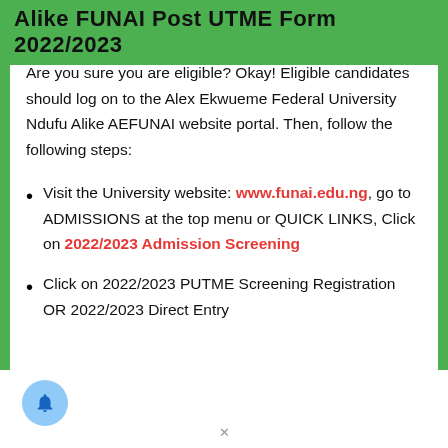Alike FUNAI Post UTME Form 2022/2023
Are you sure you are eligible? Okay! Eligible candidates should log on to the Alex Ekwueme Federal University Ndufu Alike AEFUNAI website portal. Then, follow the following steps:
Visit the University website: www.funai.edu.ng, go to ADMISSIONS at the top menu or QUICK LINKS, Click on 2022/2023 Admission Screening
Click on 2022/2023 PUTME Screening Registration OR 2022/2023 Direct Entry